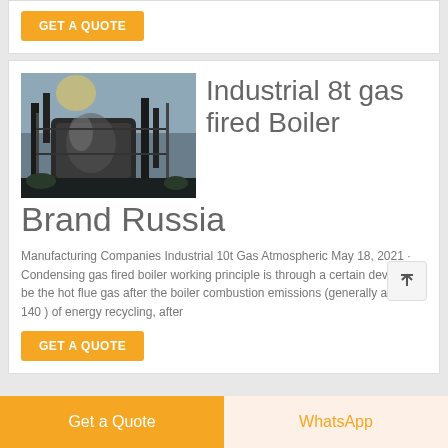GET A QUOTE
[Figure (photo): Industrial gas-fired boiler unit photographed outdoors, large cylindrical vessel with pipes and metal framework, dark silhouette against sky]
Industrial 8t gas fired Boiler Brand Russia
Manufacturing Companies Industrial 10t Gas Atmospheric May 18, 2021 · Condensing gas fired boiler working principle is through a certain device will be the hot flue gas after the boiler combustion emissions (generally at about 140 ) of energy recycling, after
GET A QUOTE
Get a Quote
WhatsApp